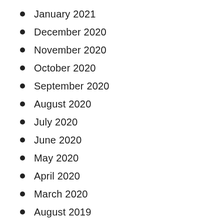January 2021
December 2020
November 2020
October 2020
September 2020
August 2020
July 2020
June 2020
May 2020
April 2020
March 2020
August 2019
July 2019